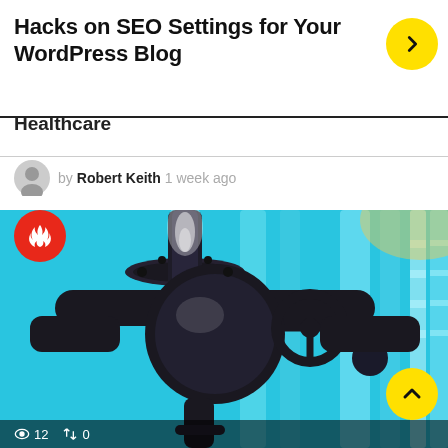Hacks on SEO Settings for Your WordPress Blog
Healthcare
by Robert Keith 1 week ago
[Figure (photo): Industrial pipe valve system with dark metal ball valve in foreground against blue-lit pipe background]